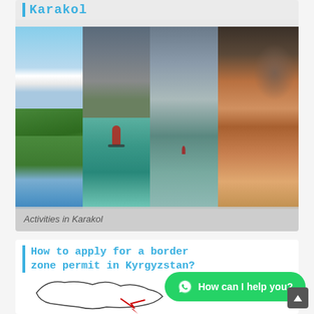Karakol
[Figure (photo): Photo collage of Karakol activities: snow-capped mountains, green valleys with river, hiker with arms spread in mountain landscape, mountain lake with figure standing, market vendor examining colorful dried fruits and nuts]
Activities in Karakol
How to apply for a border zone permit in Kyrgyzstan?
[Figure (map): Outline map of Kyrgyzstan with border zone markings, partially visible at bottom of page]
[Figure (other): WhatsApp chat button with green background reading 'How can I help you?']